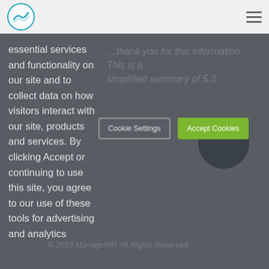[Figure (logo): Circular logo with mountain/wave icon in teal blue]
essential services and functionality on our site and to collect data on how visitors interact with our site, products and services. By clicking Accept or continuing to use this site, you agree to our use of these tools for advertising and analytics
Cookie Settings
Accept Cookies